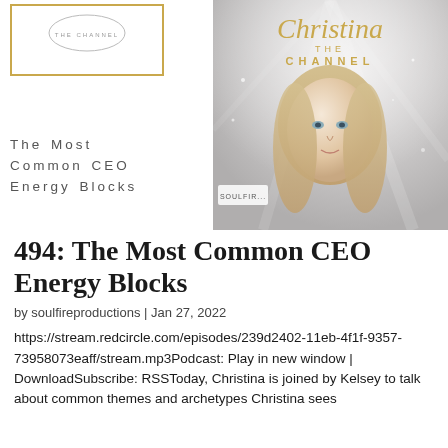[Figure (photo): Podcast cover image showing Christina The Channel with a blonde woman's portrait on a grey/silver background with gold script text reading 'Christina THE CHANNEL']
[Figure (logo): Logo box with gold border, text 'THE CHANNEL' in small caps]
The Most Common CEO Energy Blocks
494: The Most Common CEO Energy Blocks
by soulfireproductions | Jan 27, 2022
https://stream.redcircle.com/episodes/239d2402-11eb-4f1f-9357-73958073eaff/stream.mp3Podcast: Play in new window | DownloadSubscribe: RSSToday, Christina is joined by Kelsey to talk about common themes and archetypes Christina sees